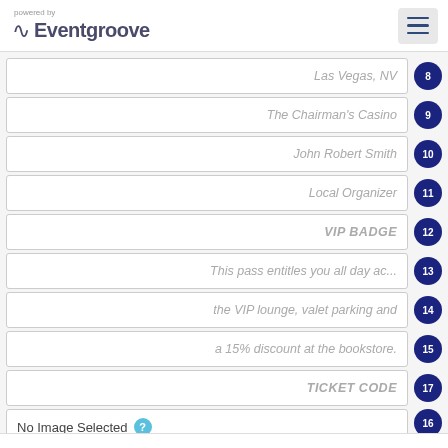powered by Eventgroove
Las Vegas, NV — 8
The Chairman's Casino — 9
John Robert Smith — 10
Local Organizer — 11
VIP BADGE — 12
This pass entitles you all day ac... — 13
the VIP lounge, valet parking and — 14
a 15% discount at the bookstore. — 15
TICKET CODE — 17
No Image Selected — 16
[Figure (screenshot): Select Image button with folder icon]